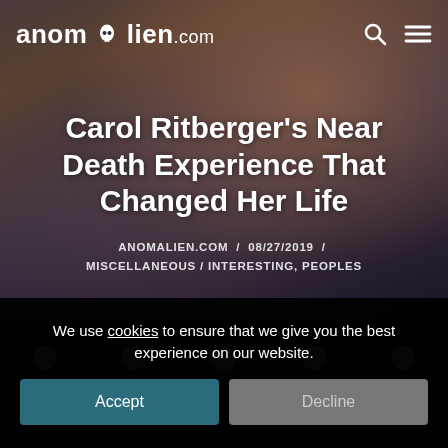anomalien.com
Carol Ritberger's Near Death Experience That Changed Her Life
ANOMALIEN.COM / 08/27/2019 / MISCELLANEOUS / INTERESTING, PEOPLES
[Figure (screenshot): Social share bar with icons at the bottom of the hero image area, partially visible on dark background]
We use cookies to ensure that we give you the best experience on our website.
Accept
Decline